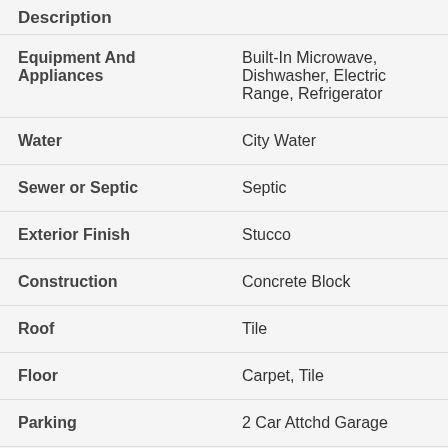| Description |  |
| --- | --- |
| Equipment And Appliances | Built-In Microwave, Dishwasher, Electric Range, Refrigerator |
| Water | City Water |
| Sewer or Septic | Septic |
| Exterior Finish | Stucco |
| Construction | Concrete Block |
| Roof | Tile |
| Floor | Carpet, Tile |
| Parking | 2 Car Attchd Garage |
| Additional Rooms | Family Room, Formal Dining |